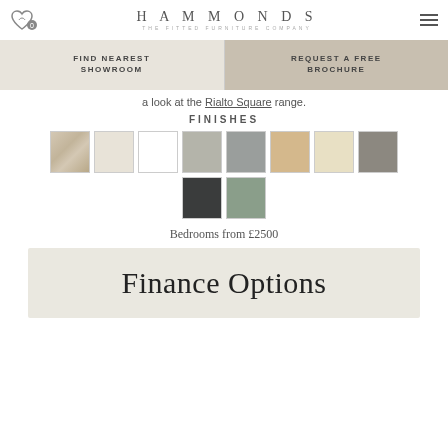HAMMONDS THE FITTED FURNITURE COMPANY
FIND NEAREST SHOWROOM | REQUEST A FREE BROCHURE
a look at the Rialto Square range.
FINISHES
[Figure (illustration): Ten colour swatches showing furniture finish options: light wood grain, cream/off-white, white, light grey, mid grey, light tan/beige, pale yellow/cream wood, charcoal/dark grey, near black/graphite, sage green]
Bedrooms from £2500
Finance Options